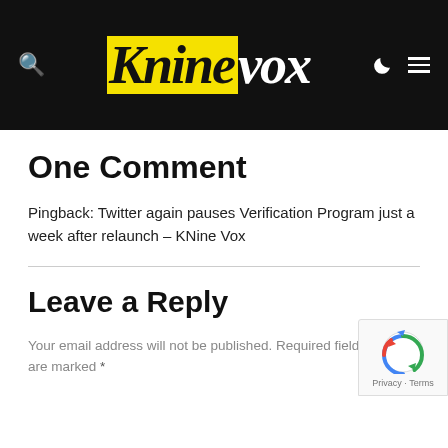Kninevox
One Comment
Pingback: Twitter again pauses Verification Program just a week after relaunch – KNine Vox
Leave a Reply
Your email address will not be published. Required fields are marked *